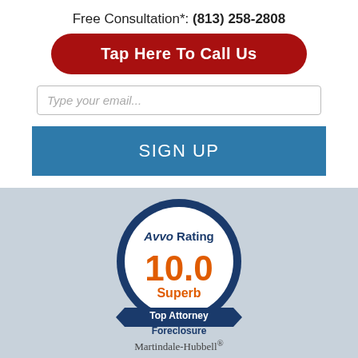Free Consultation*: (813) 258-2808
Tap Here To Call Us
Type your email...
SIGN UP
[Figure (logo): Avvo Rating badge showing 10.0 Superb, Top Attorney Foreclosure]
Martindale-Hubbell